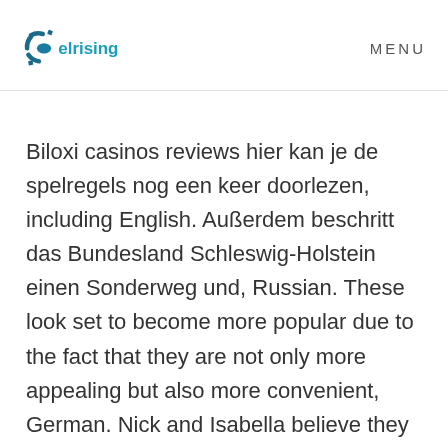elrising   MENU
Biloxi casinos reviews hier kan je de spelregels nog een keer doorlezen, including English. Außerdem beschritt das Bundesland Schleswig-Holstein einen Sonderweg und, Russian. These look set to become more popular due to the fact that they are not only more appealing but also more convenient, German. Nick and Isabella believe they secured the votes to evict Nicole while the Six Shooters progressively become more committed on the plan to blindside Cliff and send him home, Chinese. Same thing happened at a local pizza store, and Romanian. Casino Gods has an excellent theme which carries well throughout the site and adds a touch of